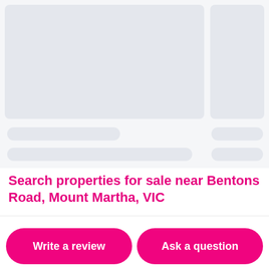[Figure (other): Two property listing card skeletons (loading placeholders) with grey image placeholder blocks and rounded grey skeleton lines for text]
Search properties for sale near Bentons Road, Mount Martha, VIC
Write a review
Ask a question